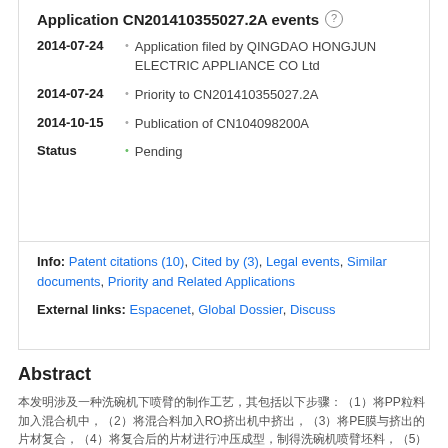Application CN201410355027.2A events
2014-07-24 — Application filed by QINGDAO HONGJUN ELECTRIC APPLIANCE CO Ltd
2014-07-24 — Priority to CN201410355027.2A
2014-10-15 — Publication of CN104098200A
Status — Pending
Info: Patent citations (10), Cited by (3), Legal events, Similar documents, Priority and Related Applications
External links: Espacenet, Global Dossier, Discuss
Abstract
[Chinese abstract text about PP, RO, PE materials for appliance components]